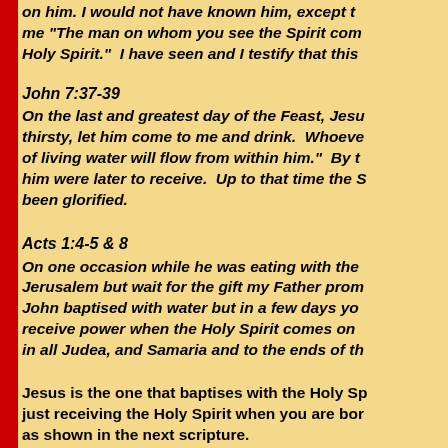on him. I would not have known him, except the one who sent me "The man on whom you see the Spirit come down and remain is he who will baptise with the Holy Spirit."  I have seen and I testify that this
John 7:37-39
On the last and greatest day of the Feast, Jesus stood and said in a loud voice, "If anyone is thirsty, let him come to me and drink.  Whoever believes in me, as the Scripture has said, streams of living water will flow from within him."  By this he meant the Spirit, whom those who believed in him were later to receive.  Up to that time the Spirit had not been given, since Jesus had not yet been glorified.
Acts 1:4-5 & 8
On one occasion while he was eating with them, he gave them this command: "Do not leave Jerusalem but wait for the gift my Father promised, which you have heard me speak about. For John baptised with water but in a few days you will be baptised with the Holy Spirit. ... But you will receive power when the Holy Spirit comes on you; and you will be my witnesses in Jerusalem, and in all Judea, and Samaria and to the ends of the earth."
Jesus is the one that baptises with the Holy Spirit. It is not just receiving the Holy Spirit when you are born again, as shown in the next scripture.